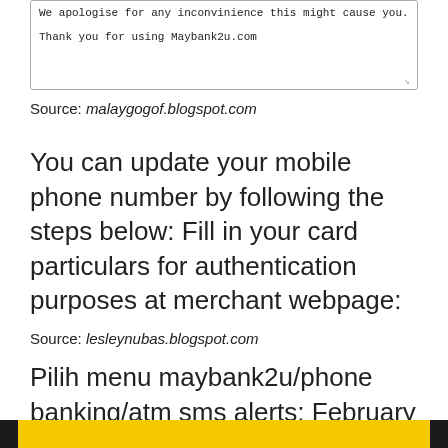[Figure (screenshot): A textarea box with text: 'We apologise for any inconvinience this might cause you.

Thank you for using Maybank2u.com' and a resize handle in the bottom-right corner.]
Source: malaygogof.blogspot.com
You can update your mobile phone number by following the steps below: Fill in your card particulars for authentication purposes at merchant webpage:
Source: lesleynubas.blogspot.com
Pilih menu maybank2u/phone banking/atm sms alerts; February 4, 2014 · alghero, italy ·.